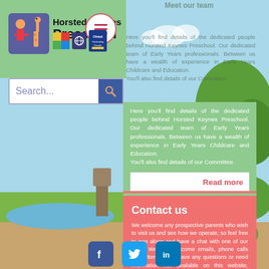Horsted Keynes Preschool
Search...
Meet our team
Here you'll find details of the dedicated people behind Horsted Keynes Preschool. Our dedicated team of Early Years professionals. Between us have a wealth of experience in Early Years Childcare and Education.
You'll also find details of our Committee.
Read more
Contact us
We welcome any prospective parents who wish to visit us and see how we operate; so feel free to pop along and have a chat with one of our team. We also welcome emails, phone calls and letters. If you have any questions or need information not available on this website, please do not hesitate to contact us. We look forward to hearing from you.
Contact us